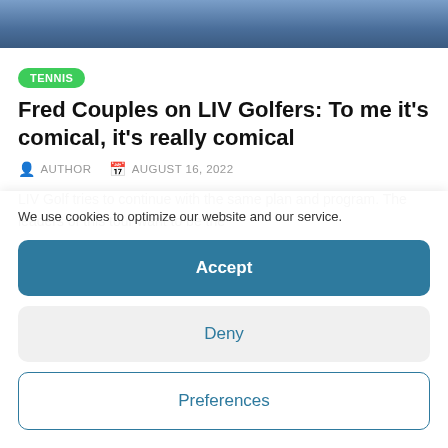[Figure (photo): Cropped photo of a person in blue, partially visible at top of page]
TENNIS
Fred Couples on LIV Golfers: To me it's comical, it's really comical
AUTHOR   AUGUST 16, 2022
LIV Golf tries to continue with the same plan and program. The leaders of this tour want to be the
We use cookies to optimize our website and our service.
Accept
Deny
Preferences